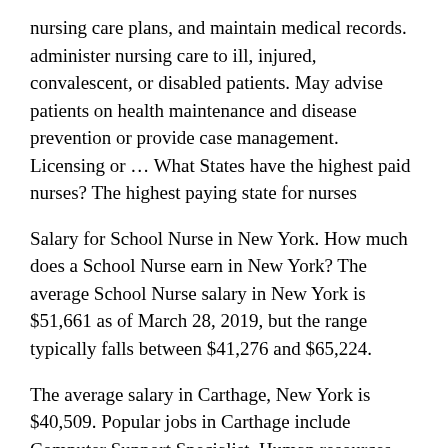nursing care plans, and maintain medical records. administer nursing care to ill, injured, convalescent, or disabled patients. May advise patients on health maintenance and disease prevention or provide case management. Licensing or … What States have the highest paid nurses? The highest paying state for nurses
Salary for School Nurse in New York. How much does a School Nurse earn in New York? The average School Nurse salary in New York is $51,661 as of March 28, 2019, but the range typically falls between $41,276 and $65,224.
The average salary in Carthage, New York is $40,509. Popular jobs in Carthage include Computer Support Specialist, Human resources (hr) director, and family nurse